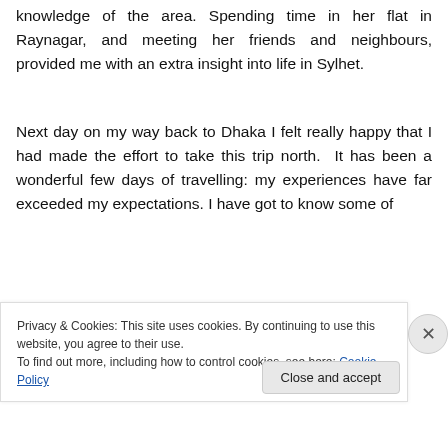knowledge of the area. Spending time in her flat in Raynagar, and meeting her friends and neighbours, provided me with an extra insight into life in Sylhet.
Next day on my way back to Dhaka I felt really happy that I had made the effort to take this trip north.  It has been a wonderful few days of travelling: my experiences have far exceeded my expectations. I have got to know some of
Privacy & Cookies: This site uses cookies. By continuing to use this website, you agree to their use.
To find out more, including how to control cookies, see here: Cookie Policy